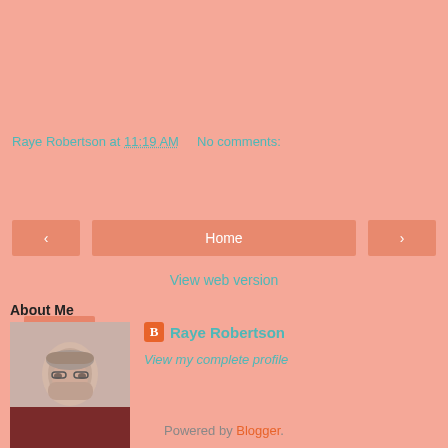Raye Robertson at 11:19 AM   No comments:
Share
< Home >
View web version
About Me
[Figure (photo): Profile photo of Raye Robertson, a woman with short gray hair and glasses wearing a dark red top]
Raye Robertson
View my complete profile
Powered by Blogger.